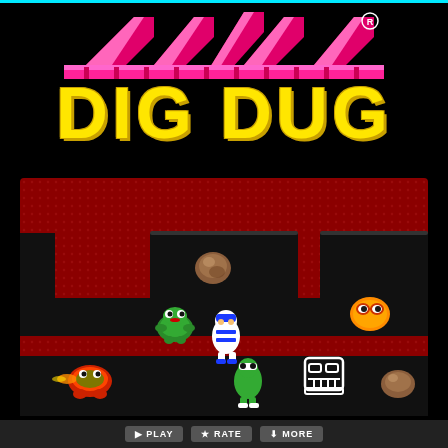[Figure (screenshot): Dig Dug arcade game cover/splash screen showing the pink and red chevron roof logo at top, the yellow 'DIG DUG' title text with registered trademark symbol, and a gameplay screenshot below featuring game characters (Dig Dug player character, Pooka enemies, Fygar enemies, and rocks) on a dark red dotted underground background with tunnel passages. A button bar appears at the bottom.]